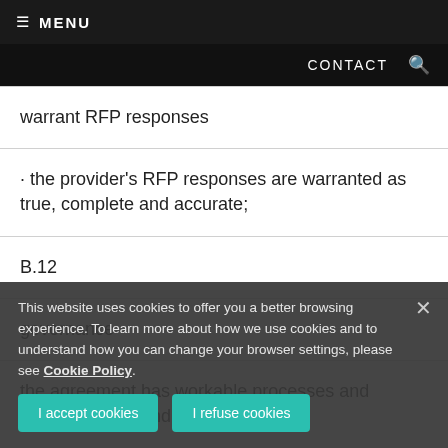≡ MENU
CONTACT 🔍
warrant RFP responses
· the provider's RFP responses are warranted as true, complete and accurate;
B.12
governance
the agreement has workable processes and procedures around:
· a...
· change control;
This website uses cookies to offer you a better browsing experience. To learn more about how we use cookies and to understand how you can change your browser settings, please see Cookie Policy.